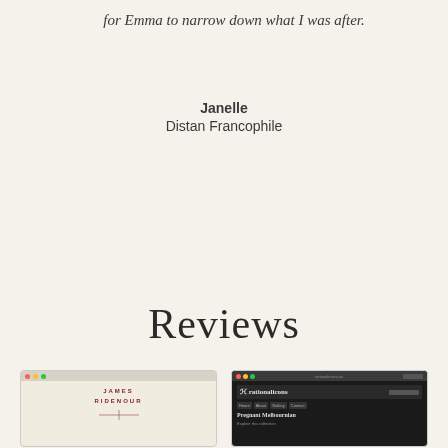for Emma to narrow down what I was after.
Janelle
Distan Francophile
Reviews
[Figure (screenshot): Screenshot of James Ridenour website with cream background and red lettering]
[Figure (screenshot): Screenshot of a dark-themed website showing 'Pregnant Melbournian' content]